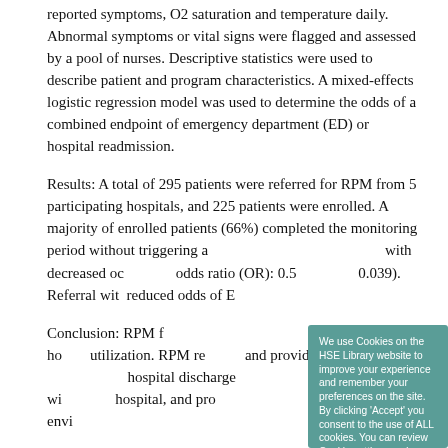reported symptoms, O2 saturation and temperature daily. Abnormal symptoms or vital signs were flagged and assessed by a pool of nurses. Descriptive statistics were used to describe patient and program characteristics. A mixed-effects logistic regression model was used to determine the odds of a combined endpoint of emergency department (ED) or hospital readmission.
Results: A total of 295 patients were referred for RPM from 5 participating hospitals, and 225 patients were enrolled. A majority of enrolled patients (66%) completed the monitoring period without triggering an alert. RPM completion was associated with decreased odds of ED/hospital readmission (adjusted odds ratio (OR): 0.50; 95% CI: 0.26, 0.97; p = 0.039). Referral within 2 days of hospital discharge was associated with reduced odds of ED/hospital readmission.
Conclusion: RPM for COVID-19 patients provided services to patients in their homes and may reduce healthcare utilization. RPM reduced the odds of ED/hospital readmission and provides scalable, asynchronous care to patients after hospital discharge. Completion of the RPM monitoring period was associated with reduced odds of readmission to the hospital, and provides patients with continued clinical oversight in their home environment.
Kodama et al (20... Process of COVID-19 Patients Using Telemedicine, Remote
[Figure (other): Cookie consent modal popup with teal/green background. Contains text: 'We use Cookies on the HSE Library website to improve your experience and remember your preferences on the site. By clicking Accept you consent to the use of ALL cookies. You can review Cookie settings and revise your consent by reviewing our Privacy and Cookies statement'. Buttons: 'Cookie settings' (underlined link), 'Read More' (white button), 'ACCEPT' (green button).]